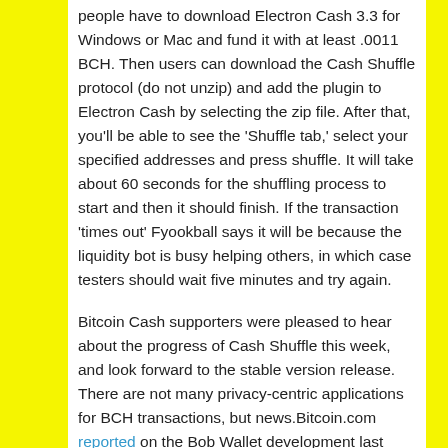people have to download Electron Cash 3.3 for Windows or Mac and fund it with at least .0011 BCH. Then users can download the Cash Shuffle protocol (do not unzip) and add the plugin to Electron Cash by selecting the zip file. After that, you'll be able to see the 'Shuffle tab,' select your specified addresses and press shuffle. It will take about 60 seconds for the shuffling process to start and then it should finish. If the transaction 'times out' Fyookball says it will be because the liquidity bot is busy helping others, in which case testers should wait five minutes and try again.
Bitcoin Cash supporters were pleased to hear about the progress of Cash Shuffle this week, and look forward to the stable version release. There are not many privacy-centric applications for BCH transactions, but news.Bitcoin.com reported on the Bob Wallet development last week which also does some BCH mixing. However, Bob Wallet is still in its initial stages using testnet, and Cash Shuffle looks as though it will be ready first.